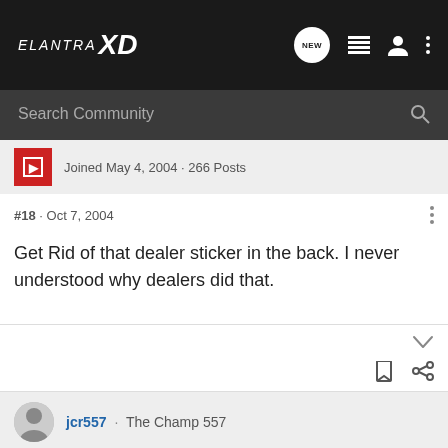ELANTRA XD — community site header with search bar
Joined May 4, 2004 · 266 Posts
#18 · Oct 7, 2004
Get Rid of that dealer sticker in the back. I never understood why dealers did that.
jcr557 · The Champ 557